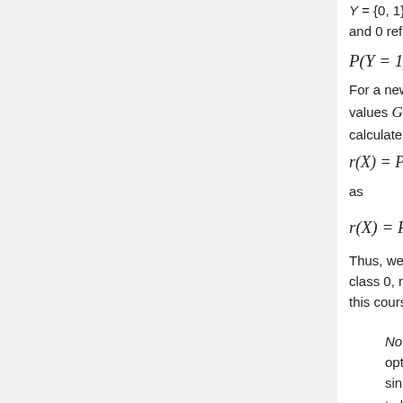Y = {0, 1}, where 1 refers to pass and 0 refers to fail. Assume that
For a new student comes along with values G = 0, M = 1, H = 0, we calculate
as
Thus, we classify the new student into class 0, namely, we predict him to fail in this course.
Notice: Although the Bayes rule is optimal, we still need other methods, since it is generally impossible for us to know the prior P(Y=1), and class conditional density P(X=x|Y=1) and ultimately